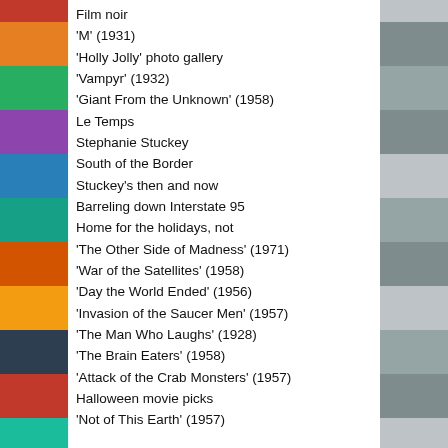Film noir
'M' (1931)
'Holly Jolly' photo gallery
'Vampyr' (1932)
'Giant From the Unknown' (1958)
Le Temps
Stephanie Stuckey
South of the Border
Stuckey's then and now
Barreling down Interstate 95
Home for the holidays, not
'The Other Side of Madness' (1971)
'War of the Satellites' (1958)
'Day the World Ended' (1956)
'Invasion of the Saucer Men' (1957)
'The Man Who Laughs' (1928)
'The Brain Eaters' (1958)
'Attack of the Crab Monsters' (1957)
Halloween movie picks
'Not of This Earth' (1957)